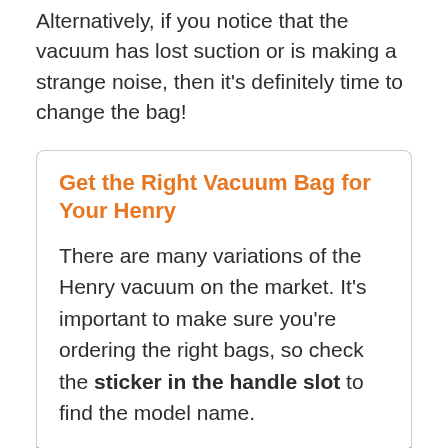Alternatively, if you notice that the vacuum has lost suction or is making a strange noise, then it's definitely time to change the bag!
Get the Right Vacuum Bag for Your Henry
There are many variations of the Henry vacuum on the market. It's important to make sure you're ordering the right bags, so check the sticker in the handle slot to find the model name.
Step 2: Remove the Filled Bag